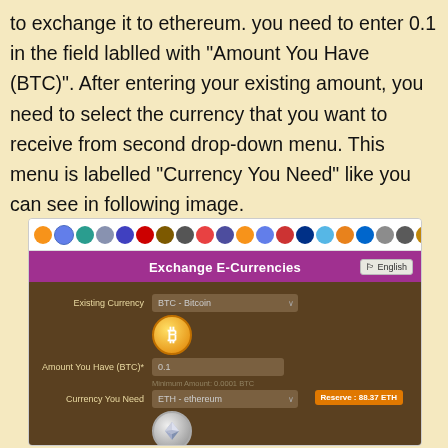to exchange it to ethereum. you need to enter 0.1 in the field lablled with "Amount You Have (BTC)". After entering your existing amount, you need to select the currency that you want to receive from second drop-down menu. This menu is labelled "Currency You Need" like you can see in following image.
[Figure (screenshot): Screenshot of an Exchange E-Currencies web interface showing fields for Existing Currency (BTC - Bitcoin), Amount You Have (BTC)* with value 0.1, and Currency You Need (ETH - ethereum), with Bitcoin and Ethereum coin icons, a Reserve: 88.37 ETH button, and a bottom bar showing 1 BTC = 39.35236746 ETH]